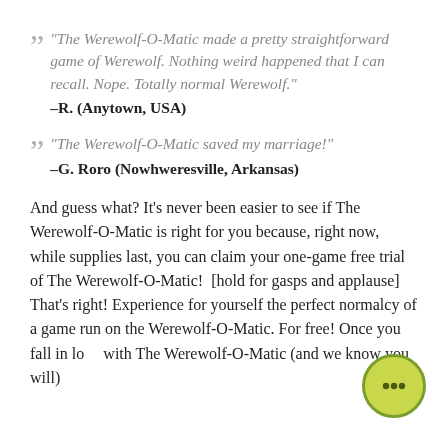“The Werewolf-O-Matic made a pretty straightforward game of Werewolf. Nothing weird happened that I can recall. Nope. Totally normal Werewolf.” –R. (Anytown, USA)
“The Werewolf-O-Matic saved my marriage!” –G. Roro (Nowhweresville, Arkansas)
And guess what? It’s never been easier to see if The Werewolf-O-Matic is right for you because, right now, while supplies last, you can claim your one-game free trial of The Werewolf-O-Matic!  [hold for gasps and applause] That’s right! Experience for yourself the perfect normalcy of a game run on The Werewolf-O-Matic. For free! Once you fall in love with The Werewolf-O-Matic (and we know you will)